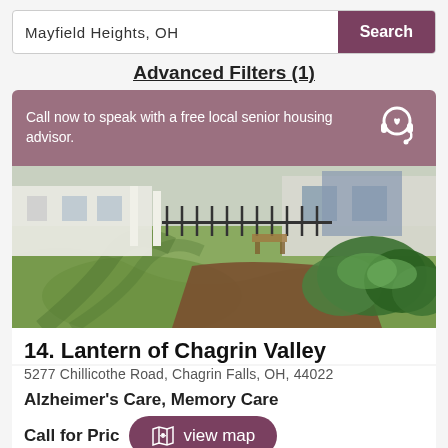Mayfield Heights, OH | Search
Advanced Filters (1)
Call now to speak with a free local senior housing advisor.
[Figure (photo): Outdoor walkway of senior living facility with green turf ground, white buildings, black iron fencing, and lush tropical plants in foreground]
14. Lantern of Chagrin Valley
5277 Chillicothe Road, Chagrin Falls, OH, 44022
Alzheimer's Care, Memory Care
Call for Price
view map